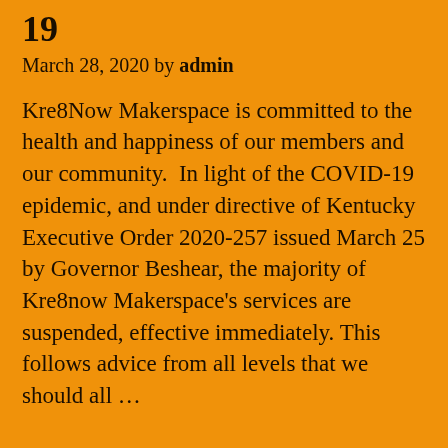19
March 28, 2020 by admin
Kre8Now Makerspace is committed to the health and happiness of our members and our community.  In light of the COVID-19 epidemic, and under directive of Kentucky Executive Order 2020-257 issued March 25 by Governor Beshear, the majority of Kre8now Makerspace's services are suspended, effective immediately. This follows advice from all levels that we should all …